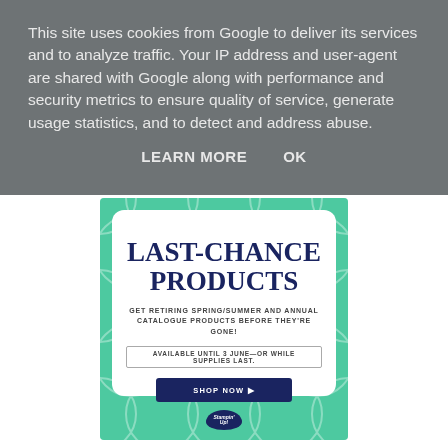This site uses cookies from Google to deliver its services and to analyze traffic. Your IP address and user-agent are shared with Google along with performance and security metrics to ensure quality of service, generate usage statistics, and to detect and address abuse.
LEARN MORE    OK
[Figure (infographic): Last-Chance Products promotional banner with green geometric patterned background, white rounded card containing title 'LAST-CHANCE PRODUCTS', subtitle 'GET RETIRING SPRING/SUMMER AND ANNUAL CATALOGUE PRODUCTS BEFORE THEY'RE GONE!', availability note 'AVAILABLE UNTIL 3 JUNE—OR WHILE SUPPLIES LAST.', a dark navy 'SHOP NOW ▶' button, and a Stampin' Up! logo at bottom.]